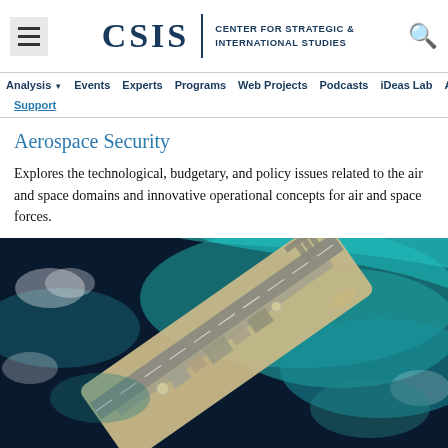CSIS | CENTER FOR STRATEGIC & INTERNATIONAL STUDIES
Analysis ▾  Events  Experts  Programs  Web Projects  Podcasts  iDeas Lab  About Us  Support
Aerospace Security
Explores the technological, budgetary, and policy issues related to the air and space domains and innovative operational concepts for air and space forces.
[Figure (photo): Aerial satellite photograph of what appears to be a man-made island or military installation in the ocean, showing runway, structures, and surrounding turquoise water. Likely Fiery Cross Reef or similar South China Sea island.]